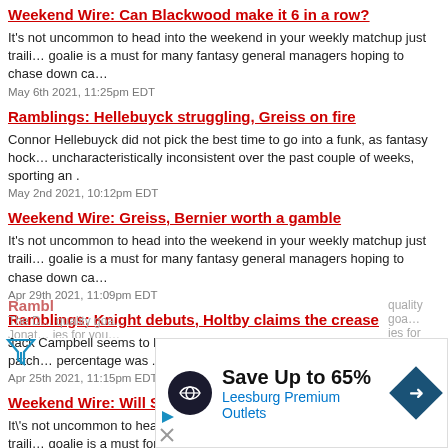Weekend Wire: Can Blackwood make it 6 in a row?
It's not uncommon to head into the weekend in your weekly matchup just traili… goalie is a must for many fantasy general managers hoping to chase down ca…
May 6th 2021, 11:25pm EDT
Ramblings: Hellebuyck struggling, Greiss on fire
Connor Hellebuyck did not pick the best time to go into a funk, as fantasy hock… uncharacteristically inconsistent over the past couple of weeks, sporting an .
May 2nd 2021, 10:12pm EDT
Weekend Wire: Greiss, Bernier worth a gamble
It's not uncommon to head into the weekend in your weekly matchup just traili… goalie is a must for many fantasy general managers hoping to chase down ca…
Apr 29th 2021, 11:09pm EDT
Ramblings: Knight debuts, Holtby claims the crease
Jack Campbell seems to be finding his game again after a recent rough patch… percentage was .
Apr 25th 2021, 11:15pm EDT
Weekend Wire: Will Subban get another start?
It\'s not uncommon to head into the weekend in your weekly matchup jus…traili… goalie is a must for many fantasy general managers hoping to chase do…cat
Apr 22nd 2021, 11:17pm EDT
[Figure (screenshot): Advertisement overlay: Save Up to 65% - Leesburg Premium Outlets, with black circular logo and blue diamond arrow icon]